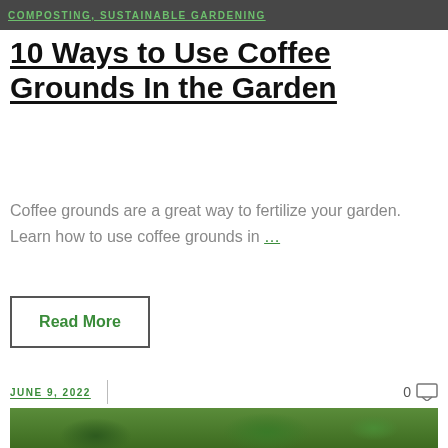COMPOSTING, SUSTAINABLE GARDENING
10 Ways to Use Coffee Grounds In the Garden
Coffee grounds are a great way to fertilize your garden. Learn how to use coffee grounds in ...
Read More
JUNE 9, 2022
0
[Figure (photo): Garden photo showing green leafy plants growing in soil with straw mulch]